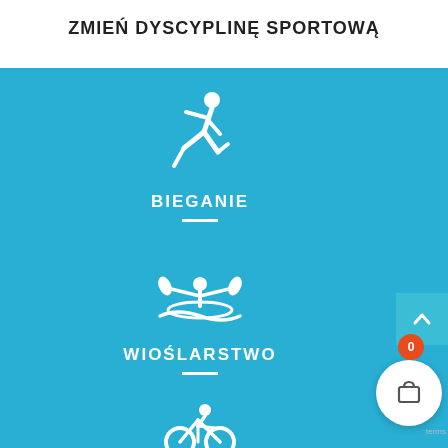ZMIEŃ DYSCYPLINĘ SPORTOWĄ
[Figure (illustration): Running person white icon on blue background]
BIEGANIE
[Figure (illustration): Rowing/kayak white icon on blue background]
WIOŚLARSTWO
[Figure (illustration): Cycling white icon on blue background (partially visible)]